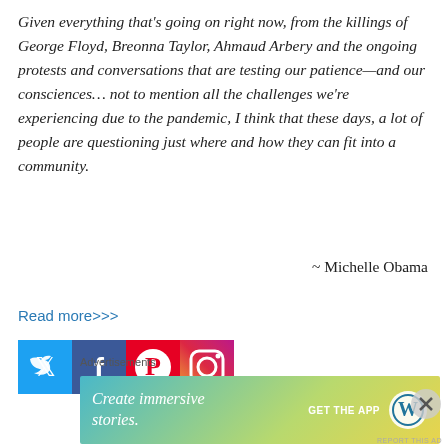Given everything that's going on right now, from the killings of George Floyd, Breonna Taylor, Ahmaud Arbery and the ongoing protests and conversations that are testing our patience—and our consciences… not to mention all the challenges we're experiencing due to the pandemic, I think that these days, a lot of people are questioning just where and how they can fit into a community.
~ Michelle Obama
Read more>>>
[Figure (other): Social media icons row: Twitter (blue), Facebook (dark blue), Pinterest (red), Instagram (gradient)]
Advertisements
[Figure (other): WordPress advertisement banner: 'Create immersive stories.' with GET THE APP button and WordPress logo on gradient background]